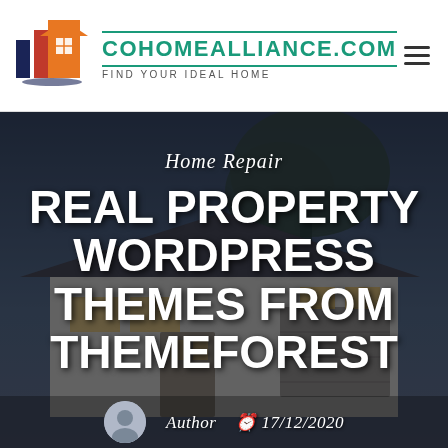[Figure (logo): Real estate logo with building/house icon in orange, red, and dark blue]
COHOMEALLIANCE.COM
FIND YOUR IDEAL HOME
[Figure (photo): Hero banner image of a house exterior at dusk with dark overlay, showing roof and garage]
Home Repair
REAL PROPERTY WORDPRESS THEMES FROM THEMEFOREST
Author  17/12/2020